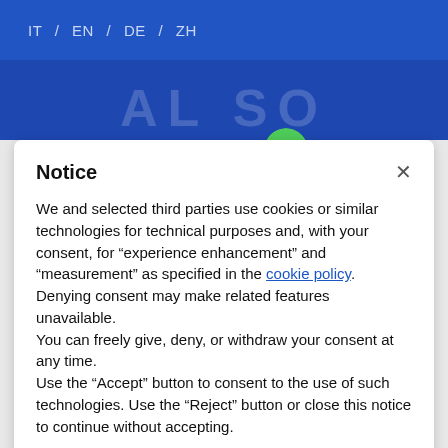IT / EN / DE / ZH
Notice
We and selected third parties use cookies or similar technologies for technical purposes and, with your consent, for “experience enhancement” and “measurement” as specified in the cookie policy. Denying consent may make related features unavailable.
You can freely give, deny, or withdraw your consent at any time.
Use the “Accept” button to consent to the use of such technologies. Use the “Reject” button or close this notice to continue without accepting.
Reject
Accept
Learn more and customise